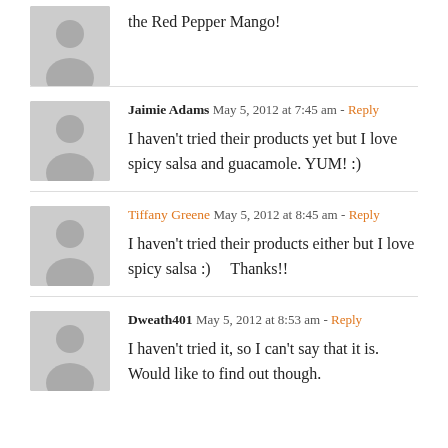the Red Pepper Mango!
Jaimie Adams  May 5, 2012 at 7:45 am - Reply
I haven't tried their products yet but I love spicy salsa and guacamole.  YUM!  :)
Tiffany Greene  May 5, 2012 at 8:45 am - Reply
I haven't tried their products either but I love spicy salsa  :)     Thanks!!
Dweath401  May 5, 2012 at 8:53 am - Reply
I haven't tried it, so I can't say that it is.  Would like to find out though.